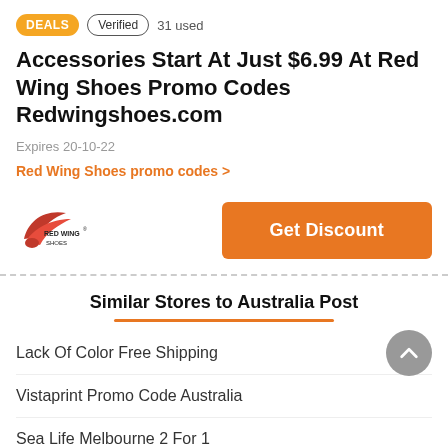DEALS  Verified  31 used
Accessories Start At Just $6.99 At Red Wing Shoes Promo Codes Redwingshoes.com
Expires 20-10-22
Red Wing Shoes promo codes >
[Figure (logo): Red Wing Shoes logo — red wing bird with text RED WING SHOES]
Get Discount
Similar Stores to Australia Post
Lack Of Color Free Shipping
Vistaprint Promo Code Australia
Sea Life Melbourne 2 For 1